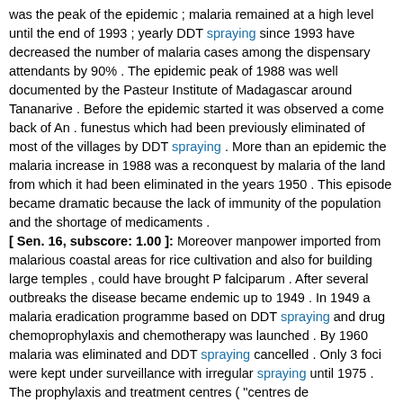was the peak of the epidemic ; malaria remained at a high level until the end of 1993 ; yearly DDT spraying since 1993 have decreased the number of malaria cases among the dispensary attendants by 90% . The epidemic peak of 1988 was well documented by the Pasteur Institute of Madagascar around Tananarive . Before the epidemic started it was observed a come back of An . funestus which had been previously eliminated of most of the villages by DDT spraying . More than an epidemic the malaria increase in 1988 was a reconquest by malaria of the land from which it had been eliminated in the years 1950 . This episode became dramatic because the lack of immunity of the population and the shortage of medicaments . [ Sen. 16, subscore: 1.00 ]: Moreover manpower imported from malarious coastal areas for rice cultivation and also for building large temples , could have brought P falciparum . After several outbreaks the disease became endemic up to 1949 . In 1949 a malaria eradication programme based on DDT spraying and drug chemoprophylaxis and chemotherapy was launched . By 1960 malaria was eliminated and DDT spraying cancelled . Only 3 foci were kept under surveillance with irregular spraying until 1975 . The prophylaxis and treatment centres ( "centres de nivaquinisation" ) were kept open up to 1979 . The catholic dispensary of Analaroa , 100 km NE of Tananarive , opened in 1971 and worked without interruption up to now . The malaria diagnosis has always been controlled by microscopy . Its registers are probably the more reliable source of information on malaria in the area . They show that malaria was already present on the Highlands in 1971 but at a low prevalence ; in 1980 when the "centres de nivaquinisation" were closed the number of cases increased by three times the progressive increase of the number of cases became exponential from 1986 to 1988 which was the peak of the epidemic ; malaria remained at a high level until the end of 1993 ; yearly DDT spraying